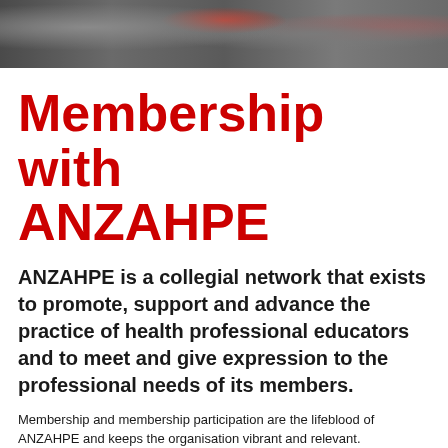[Figure (photo): Banner photo of a crowd of people at a conference or event, showing various attendees]
Membership with ANZAHPE
ANZAHPE is a collegial network that exists to promote, support and advance the practice of health professional educators and to meet and give expression to the professional needs of its members.
Membership and membership participation are the lifeblood of ANZAHPE and keeps the organisation vibrant and relevant.